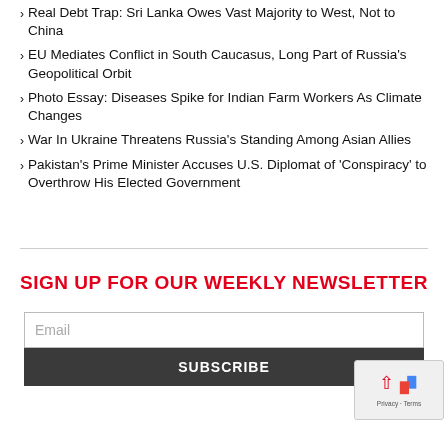Real Debt Trap: Sri Lanka Owes Vast Majority to West, Not to China
EU Mediates Conflict in South Caucasus, Long Part of Russia's Geopolitical Orbit
Photo Essay: Diseases Spike for Indian Farm Workers As Climate Changes
War In Ukraine Threatens Russia's Standing Among Asian Allies
Pakistan's Prime Minister Accuses U.S. Diplomat of 'Conspiracy' to Overthrow His Elected Government
SIGN UP FOR OUR WEEKLY NEWSLETTER
Email
SUBSCRIBE